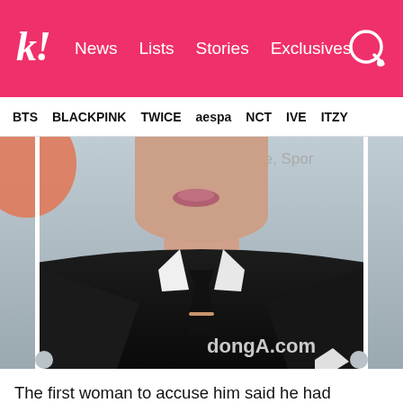k! News Lists Stories Exclusives
BTS BLACKPINK TWICE aespa NCT IVE ITZY
[Figure (photo): Close-up photo of a male K-pop idol wearing a black suit with white shirt collar and black tie, watermarked with dongA.com]
The first woman to accuse him said he had